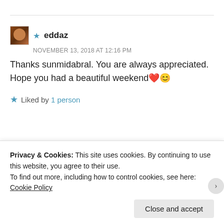★ eddaz
NOVEMBER 13, 2018 AT 12:16 PM
Thanks sunmidabral. You are always appreciated. Hope you had a beautiful weekend ❤️😊
★ Liked by 1 person
Advertisements
Need a website quickly – and on a budget?
Privacy & Cookies: This site uses cookies. By continuing to use this website, you agree to their use.
To find out more, including how to control cookies, see here:
Cookie Policy
Close and accept